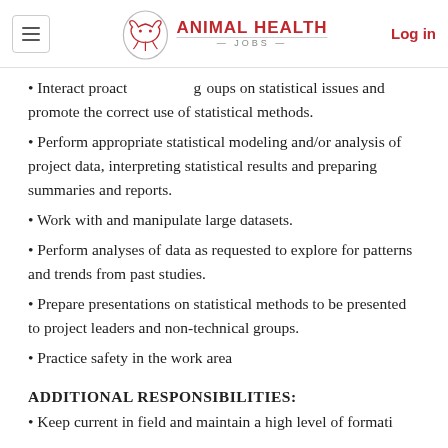ANIMAL HEALTH JOBS | Log in
Interact proactively with groups on statistical issues and promote the correct use of statistical methods.
Perform appropriate statistical modeling and/or analysis of project data, interpreting statistical results and preparing summaries and reports.
Work with and manipulate large datasets.
Perform analyses of data as requested to explore for patterns and trends from past studies.
Prepare presentations on statistical methods to be presented to project leaders and non-technical groups.
Practice safety in the work area
ADDITIONAL RESPONSIBILITIES:
Keep current in field and maintain a high level of expertise...